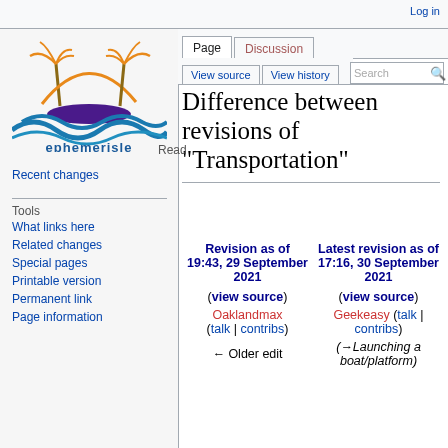Log in
[Figure (logo): Ephemerisle wiki logo: stylized boat with palm trees over blue waves, with text 'ephemerisle' below]
Recent changes
Tools
What links here
Related changes
Special pages
Printable version
Permanent link
Page information
Difference between revisions of "Transportation"
| Revision as of 19:43, 29 September 2021 | Latest revision as of 17:16, 30 September 2021 |
| --- | --- |
| (view source) | (view source) |
| Oaklandmax (talk | contribs) | Geekeasy (talk | contribs) |
| ← Older edit | (→Launching a boat/platform) |